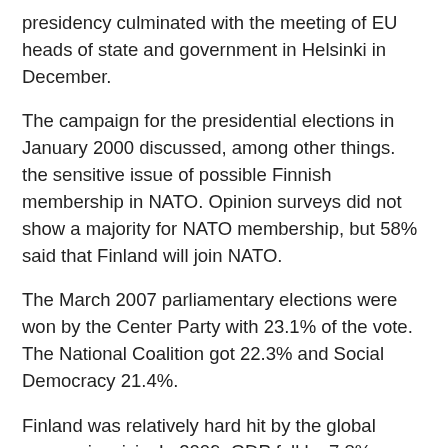presidency culminated with the meeting of EU heads of state and government in Helsinki in December.
The campaign for the presidential elections in January 2000 discussed, among other things. the sensitive issue of possible Finnish membership in NATO. Opinion surveys did not show a majority for NATO membership, but 58% said that Finland will join NATO.
The March 2007 parliamentary elections were won by the Center Party with 23.1% of the vote. The National Coalition got 22.3% and Social Democracy 21.4%.
Finland was relatively hard hit by the global economic crisis. In 2009, GDP fell by 7.8%.
Prime Minister Vanhanen resigned in June 2010 and was replaced by his party mate, Mari Kiviniomi.